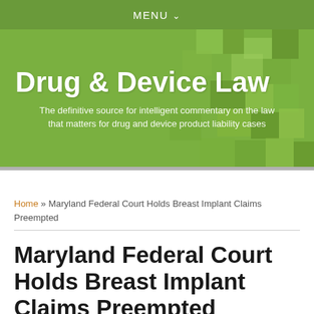MENU ∨
[Figure (illustration): Drug & Device Law blog header banner with green mosaic/pixel background. Title reads 'Drug & Device Law' in bold white text, subtitle: 'The definitive source for intelligent commentary on the law that matters for drug and device product liability cases']
Home » Maryland Federal Court Holds Breast Implant Claims Preempted
Maryland Federal Court Holds Breast Implant Claims Preempted